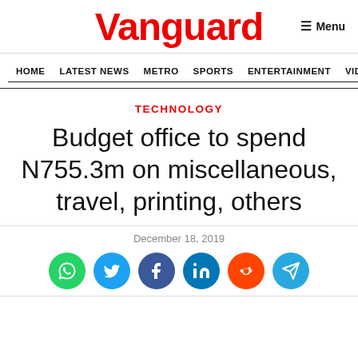Vanguard
TECHNOLOGY
Budget office to spend N755.3m on miscellaneous, travel, printing, others
December 18, 2019
[Figure (other): Social share buttons: WhatsApp, Twitter, Facebook, LinkedIn, Reddit, Telegram]